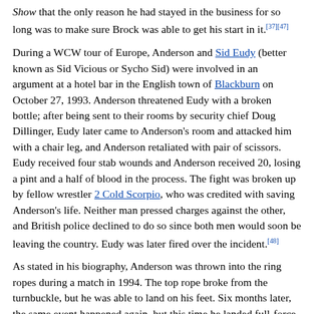Show that the only reason he had stayed in the business for so long was to make sure Brock was able to get his start in it.[37][47]
During a WCW tour of Europe, Anderson and Sid Eudy (better known as Sid Vicious or Sycho Sid) were involved in an argument at a hotel bar in the English town of Blackburn on October 27, 1993. Anderson threatened Eudy with a broken bottle; after being sent to their rooms by security chief Doug Dillinger, Eudy later came to Anderson's room and attacked him with a chair leg, and Anderson retaliated with pair of scissors. Eudy received four stab wounds and Anderson received 20, losing a pint and a half of blood in the process. The fight was broken up by fellow wrestler 2 Cold Scorpio, who was credited with saving Anderson's life. Neither man pressed charges against the other, and British police declined to do so since both men would soon be leaving the country. Eudy was later fired over the incident.[48]
As stated in his biography, Anderson was thrown into the ring ropes during a match in 1994. The top rope broke from the turnbuckle, but he was able to land on his feet. Six months later, the same event happened again, but this time he landed full-force on to the concrete and hit his head, neck, and upper back. He never took time off to heal. As time passed, with no down time, the injuries worsened. In his biography, Anderson states that the first sign of problems was his left arm suddenly going numb and